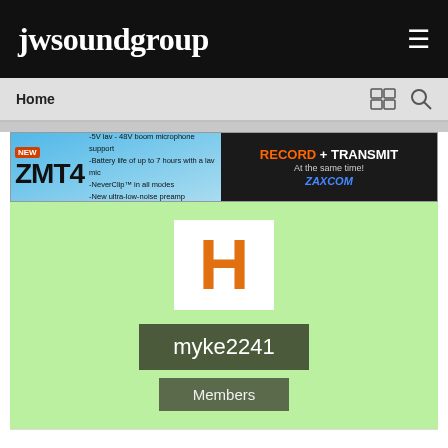jwsoundgroup
Home
[Figure (screenshot): ZMT4 advertisement banner for Zaxcom: -5V lav - 48V boom microphone support, -Battery life of up to 7 hours with a lav mic, -NeverClip in all modes, -New ultra-low-noise preamp. RECORD + TRANSMIT At the same time! ZAXCOM]
[Figure (screenshot): User profile card with orange H avatar, username myke2241, role Members on green background]
myke2241
Members
POSTS   JOINED